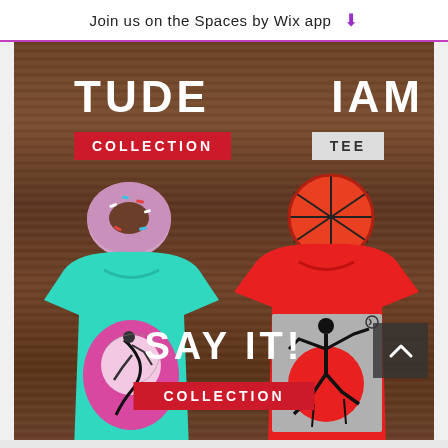Join us on the Spaces by Wix app ↓
[Figure (photo): Screenshot of a Wix e-commerce app page showing t-shirt collections on a wooden background. Top area shows 'TUDE COLLECTION' and 'IAM TEE' labels. Center shows a pink donut and orange basketball with two folded t-shirts: a teal shirt with artistic runner design and a red shirt with martial arts design on grey graphic patch. Bottom shows 'SAY IT! COLLECTION' text with an up-arrow navigation button.]
TUDE
IAM
COLLECTION
TEE
SAY IT!
COLLECTION
TWISTED TEES